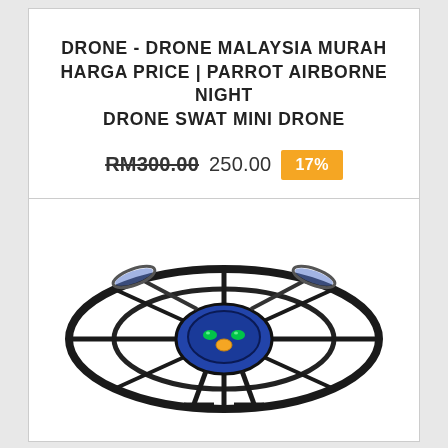DRONE - DRONE MALAYSIA MURAH HARGA PRICE | PARROT AIRBORNE NIGHT DRONE SWAT MINI DRONE
RM300.00 250.00 17%
[Figure (photo): Parrot Airborne Night SWAT mini drone, black and blue quadcopter with protective ring guards around the rotors, viewed from front-above angle showing green LED eyes on the body.]